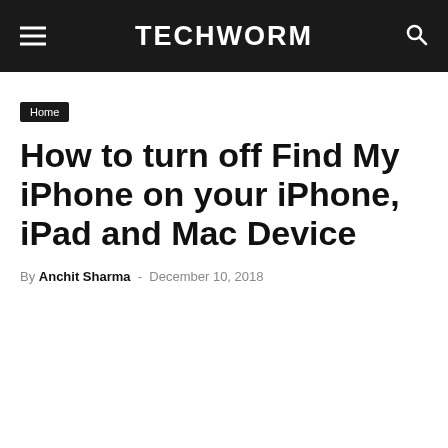TECHWORM
Home
How to turn off Find My iPhone on your iPhone, iPad and Mac Device
By Anchit Sharma - December 10, 2018